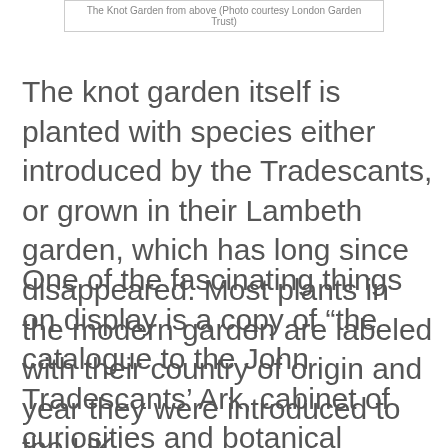The Knot Garden from above (Photo courtesy London Garden Trust)
The knot garden itself is planted with species either introduced by the Tradescants, or grown in their Lambeth garden, which has long since disappeared. Most plants in the modern garden are labeled with their country of origin and year they were introduced to the UK.
One of the fascinating things on display is a copy of “the catalogue to the John Tradescants’ Ark, cabinet of curiosities and botanical garden.” The Ark was considered to be one of the wonders of 17th century London. Father and son opened the garden